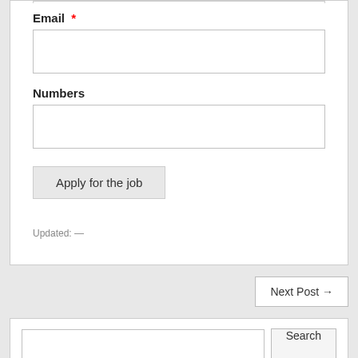Email *
Numbers
Apply for the job
Updated: —
Next Post →
Search